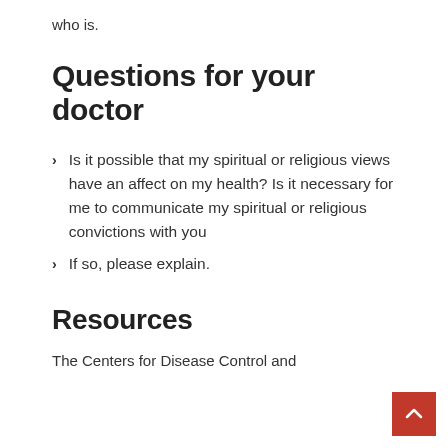who is.
Questions for your doctor
Is it possible that my spiritual or religious views have an affect on my health? Is it necessary for me to communicate my spiritual or religious convictions with you
If so, please explain.
Resources
The Centers for Disease Control and